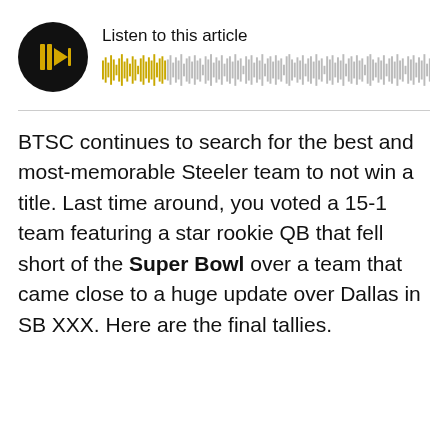[Figure (other): Audio player widget with black circular play button showing a yellow play icon, the title 'Listen to this article', and an audio waveform visualization with yellow and gray bars]
BTSC continues to search for the best and most-memorable Steeler team to not win a title. Last time around, you voted a 15-1 team featuring a star rookie QB that fell short of the Super Bowl over a team that came close to a huge update over Dallas in SB XXX. Here are the final tallies.